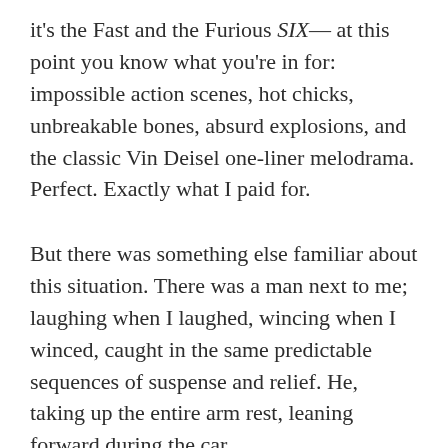it's the Fast and the Furious SIX— at this point you know what you're in for: impossible action scenes, hot chicks, unbreakable bones, absurd explosions, and the classic Vin Deisel one-liner melodrama. Perfect. Exactly what I paid for.
But there was something else familiar about this situation. There was a man next to me; laughing when I laughed, wincing when I winced, caught in the same predictable sequences of suspense and relief. He, taking up the entire arm rest, leaning forward during the car